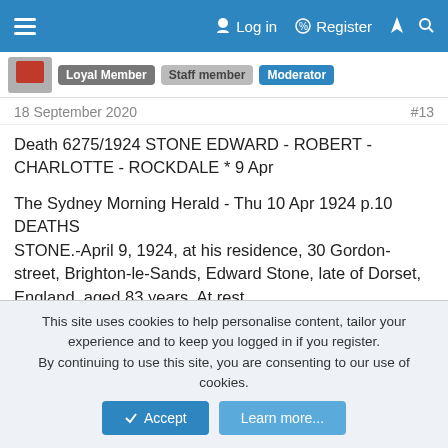Log in  Register
Loyal Member  Staff member  Moderator
18 September 2020  #13
Death 6275/1924 STONE EDWARD - ROBERT - CHARLOTTE - ROCKDALE * 9 Apr

The Sydney Morning Herald - Thu 10 Apr 1924 p.10
DEATHS
STONE.-April 9, 1924, at his residence, 30 Gordon-street, Brighton-le-Sands, Edward Stone, late of Dorset, England, aged 83 years. At rest.

Death 11369/1932 STONE CHARLOTTE - WILLIAM - ANN - ROCKDALE * 13 Aug
This site uses cookies to help personalise content, tailor your experience and to keep you logged in if you register.
By continuing to use this site, you are consenting to our use of cookies.
Accept  Learn more...